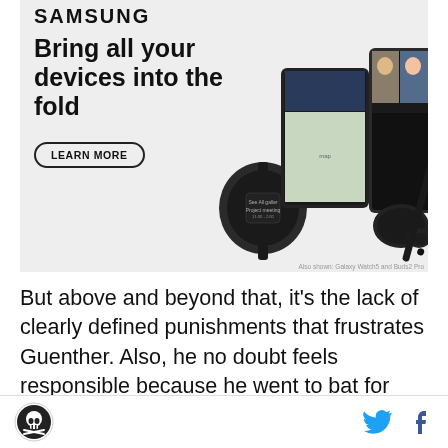[Figure (photo): Samsung advertisement showing Galaxy devices — a foldable phone with a video call on screen showing three people, a Galaxy Watch, earbuds with case, and a stylus. Text reads 'Bring all your devices into the fold' with a LEARN MORE button and Samsung logo.]
Also shown: Galaxy Watch5 and Buds2 Pro
But above and beyond that, it's the lack of clearly defined punishments that frustrates Guenther. Also, he no doubt feels responsible because he went to bat for Burfict to come to the Raiders only to see him last into his fourth game before his time in Oakland came to an
Silver and Black Pride logo | Twitter icon | Facebook icon